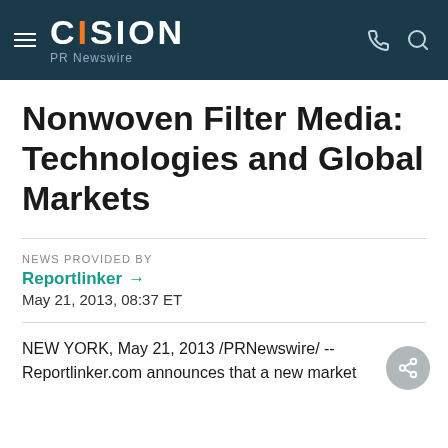CISION PR Newswire
Nonwoven Filter Media: Technologies and Global Markets
NEWS PROVIDED BY
Reportlinker →
May 21, 2013, 08:37 ET
NEW YORK, May 21, 2013 /PRNewswire/ -- Reportlinker.com announces that a new market